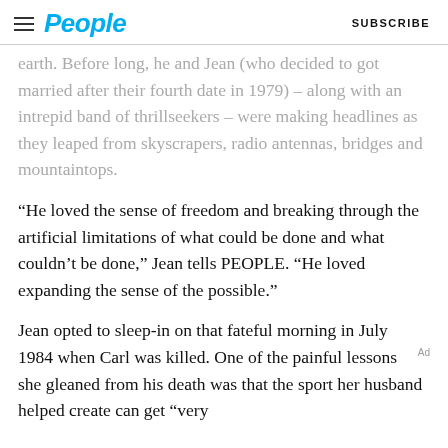People  SUBSCRIBE
earth. Before long, he and Jean (who decided to got married after their fourth date in 1979) – along with an intrepid band of thrillseekers – were making headlines as they leaped from skyscrapers, radio antennas, bridges and mountaintops.
“He loved the sense of freedom and breaking through the artificial limitations of what could be done and what couldn’t be done,” Jean tells PEOPLE. “He loved expanding the sense of the possible.”
Jean opted to sleep-in on that fateful morning in July 1984 when Carl was killed. One of the painful lessons she gleaned from his death was that the sport her husband helped create can get “very